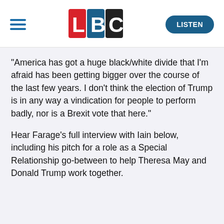LBC — LISTEN
"America has got a huge black/white divide that I'm afraid has been getting bigger over the course of the last few years. I don't think the election of Trump is in any way a vindication for people to perform badly, nor is a Brexit vote that here."
Hear Farage's full interview with Iain below, including his pitch for a role as a Special Relationship go-between to help Theresa May and Donald Trump work together.